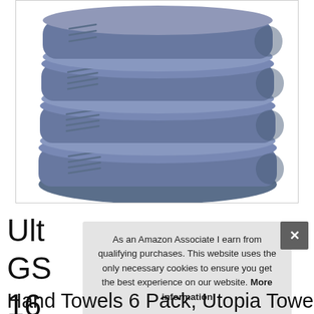[Figure (photo): Stack of four folded blue/slate-colored hand towels with ribbed border details, photographed on a white background]
Ult GS 16
As an Amazon Associate I earn from qualifying purchases. This website uses the only necessary cookies to ensure you get the best experience on our website. More information
Hand Towels 6 Pack, Utopia Towels